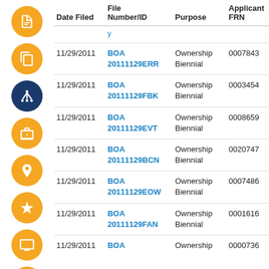| Date Filed | File Number/ID | Purpose | Applicant FRN |
| --- | --- | --- | --- |
|  | (partially visible link) |  |  |
| 11/29/2011 | BOA 20111129ERR | Ownership Biennial | 0007843 |
| 11/29/2011 | BOA 20111129FBK | Ownership Biennial | 0003454 |
| 11/29/2011 | BOA 20111129EVT | Ownership Biennial | 0008659 |
| 11/29/2011 | BOA 20111129BCN | Ownership Biennial | 0020747 |
| 11/29/2011 | BOA 20111129EOW | Ownership Biennial | 0007486 |
| 11/29/2011 | BOA 20111129FAN | Ownership Biennial | 0001616 |
| 11/29/2011 | BOA ... | Ownership ... | 0000736 |